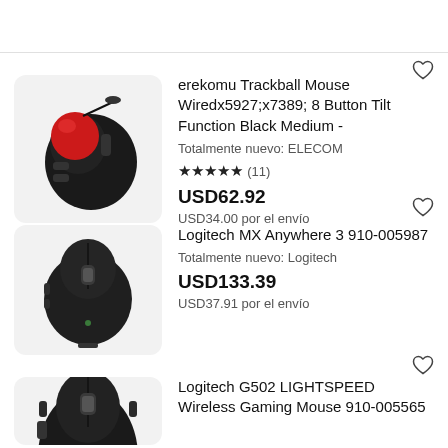[Figure (screenshot): Wishlist/favorite heart icon at top right]
[Figure (photo): ELECOM trackball mouse with red ball, black body, side view against light gray background]
erekomu Trackball Mouse Wiredx5927;x7389; 8 Button Tilt Function Black Medium -
Totalmente nuevo: ELECOM
★★★★★ (11)
USD62.92
USD34.00 por el envío
[Figure (photo): Logitech MX Anywhere 3 mouse, black, compact wireless mouse, top/side view]
Logitech MX Anywhere 3 910-005987
Totalmente nuevo: Logitech
USD133.39
USD37.91 por el envío
[Figure (photo): Logitech G502 gaming mouse, black, partial top view, cropped at bottom]
Logitech G502 LIGHTSPEED Wireless Gaming Mouse 910-005565